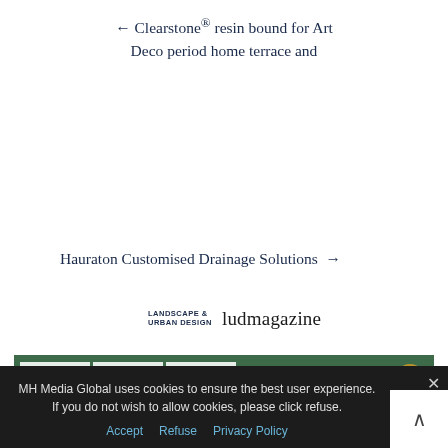← Clearstone® resin bound for Art Deco period home terrace and
Hauraton Customised Drainage Solutions →
[Figure (logo): Landscape & Urban Design magazine logo with text 'ludmagazine']
[Figure (screenshot): Magazine strip showing green background with white article thumbnail boxes]
MH Media Global uses cookies to ensure the best user experience. If you do not wish to allow cookies, please click refuse.
Accept   Refuse   Privacy Policy